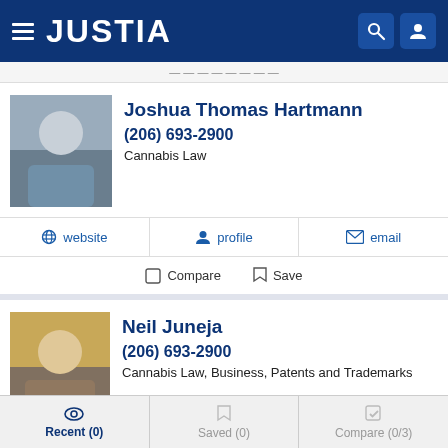JUSTIA
Joshua Thomas Hartmann
(206) 693-2900
Cannabis Law
website  profile  email
Compare  Save
Neil Juneja
(206) 693-2900
Cannabis Law, Business, Patents and Trademarks
website  profile  email
Recent (0)  Saved (0)  Compare (0/3)